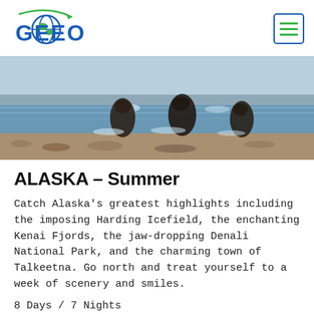[Figure (logo): GEEO logo with globe icon and green arrow, blue text]
[Figure (photo): Bears wading through shallow water on a rocky/sandy shore in Alaska]
ALASKA – Summer
Catch Alaska's greatest highlights including the imposing Harding Icefield, the enchanting Kenai Fjords, the jaw-dropping Denali National Park, and the charming town of Talkeetna. Go north and treat yourself to a week of scenery and smiles.
8 Days / 7 Nights
$2517